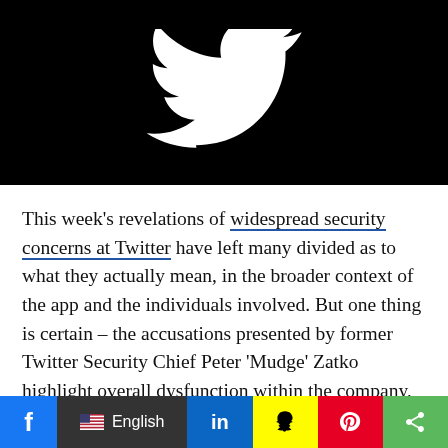[Figure (logo): Twitter bird logo, white on black background]
This week's revelations of widespread security concerns at Twitter have left many divided as to what they actually mean, in the broader context of the app and the individuals involved. But one thing is certain – the accusations presented by former Twitter Security Chief Peter 'Mudge' Zatko highlight overall dysfunction within the company, which, at best, suggests that there could well be various internal issues and concerns that Twitter is working to keep hidden from the public.
f  English  in  [Snapchat]  [Pinterest]  [Share]